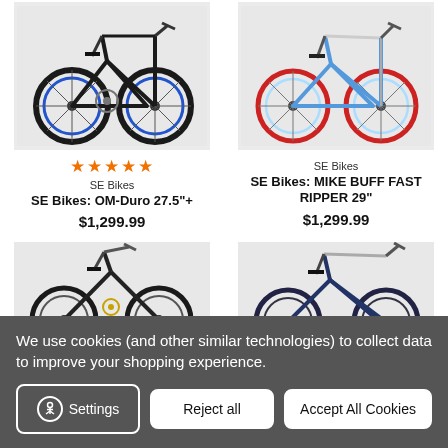[Figure (photo): Blue mountain bike with fat tires, SE Bikes OM-Duro 27.5+ on light gray background]
[Figure (photo): Light blue BMX-style bike with red rims, SE Bikes MIKE BUFF FAST RIPPER 29 on light gray background]
★★★★★
SE Bikes
SE Bikes: OM-Duro 27.5"+
$1,299.99
SE Bikes
SE Bikes: MIKE BUFF FAST RIPPER 29"
$1,299.99
[Figure (photo): BMX trick bike partial view on light gray background]
[Figure (photo): Dark blue bike partial view on light gray background]
We use cookies (and other similar technologies) to collect data to improve your shopping experience.
Settings
Reject all
Accept All Cookies